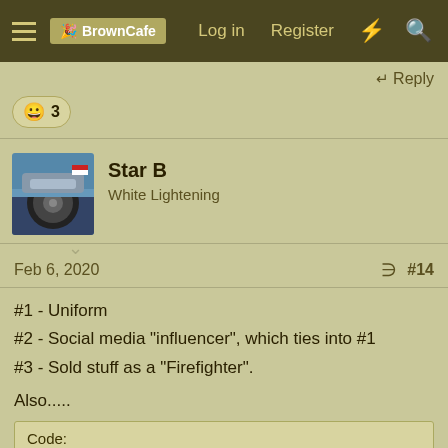BrownCafe  Log in  Register
Reply
[Figure (other): Smiley face reaction emoji with count 3]
Star B
White Lightening
Feb 6, 2020  #14
#1 - Uniform
#2 - Social media "influencer", which ties into #1
#3 - Sold stuff as a "Firefighter".
Also.....
Code:
Pritchard said she continued to post her usual